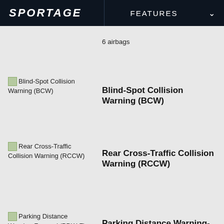SPORTAGE | FEATURES
6 airbags
[Figure (illustration): Small thumbnail image of Blind-Spot Collision Warning (BCW) feature]
Blind-Spot Collision Warning (BCW)
Blind-Spot Collision Warning (BCW)
[Figure (illustration): Small thumbnail image of Rear Cross-Traffic Collision Warning (RCCW) feature]
Rear Cross-Traffic Collision Warning (RCCW)
Rear Cross-Traffic Collision Warning (RCCW)
[Figure (illustration): Small thumbnail image of Parking Distance Warning-Forward (PDW-F) feature]
Parking Distance Warning-Forward (PDW-F)
Parking Distance Warning-Forward (PDW-F)